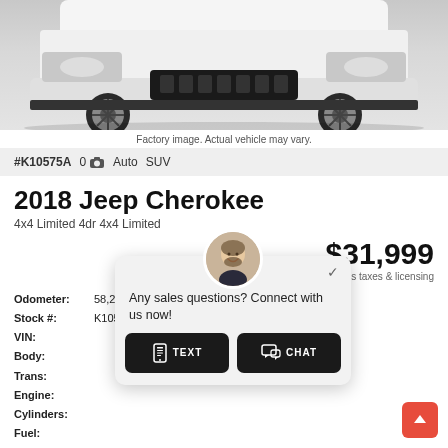[Figure (photo): Front view of a white Jeep Cherokee SUV, cropped showing hood and wheels on gray background]
Factory image. Actual vehicle may vary.
#K10575A  0  Auto  SUV
2018 Jeep Cherokee
4x4 Limited 4dr 4x4 Limited
$31,999
Plus taxes & licensing
| Odometer: | 58,230 Km |
| Stock #: | K10575A |
| VIN: |  |
| Body: |  |
| Trans: |  |
| Engine: |  |
| Cylinders: |  |
| Fuel: |  |
| Doors: |  |
| Exterior: |  |
Any sales questions? Connect with us now!